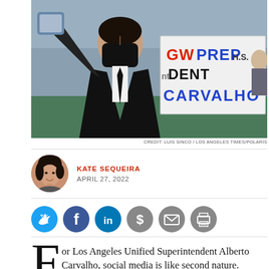[Figure (photo): Man in black suit and black face mask taking a selfie with a group of masked students holding a banner reading 'GWPrep H.S. Student Carvalho']
CREDIT: LUIS SINCO / LOS ANGELES TIMES/POLARIS
KATE SEQUEIRA
APRIL 27, 2022
[Figure (infographic): Social sharing icons: Twitter, Facebook, LinkedIn, Dollar sign, Mail, Print]
For Los Angeles Unified Superintendent Alberto Carvalho, social media is like second nature.